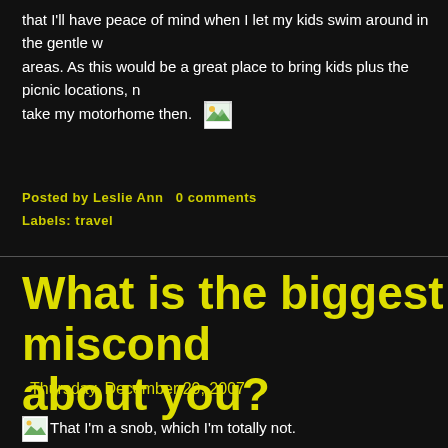that I'll have peace of mind when I let my kids swim around in the gentle w... areas. As this would be a great place to bring kids plus the picnic locations, n... take my motorhome then.
Posted by Leslie Ann   0 comments
Labels: travel
What is the biggest misconception about you?
Thursday, December 20, 2007
That I'm a snob, which I'm totally not.
I don't know why people often get that image of me. I don't know if it's becau... talk that much either. In any case, I get this a lot and people I don't know o... to meet them often are hesitant to approach me and get acquainted.
Which makes me think - is it OK to just come up to somebody and blab all v... would be NO, right? So why do people expect you to be all cheerful and up...